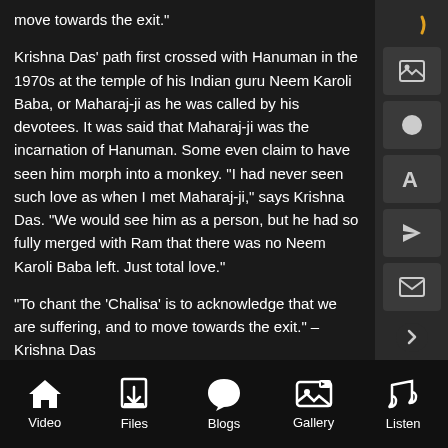move towards the exit."
Krishna Das' path first crossed with Hanuman in the 1970s at the temple of his Indian guru Neem Karoli Baba, or Maharaj-ji as he was called by his devotees. It was said that Maharaj-ji was the incarnation of Hanuman. Some even claim to have seen him morph into a monkey. "I had never seen such love as when I met Maharaj-ji," says Krishna Das. "We would see him as a person, but he had so fully merged with Ram that there was no Neem Karoli Baba left. Just total love."
"To chant the ‘Chalisa’ is to acknowledge that we are suffering, and to move towards the exit.” – Krishna Das
Each day the devotees were given a yellow pamphlet with a picture of a monkey on it, filled with words in Awadhi language. Although they didn’t realize it for some time, it was the "Hanuman Chalisa." "When we found out, we saw it as an opportunity to show our devotion to Maharaj-ji, and to spend
Video	Files	Blogs	Gallery	Listen